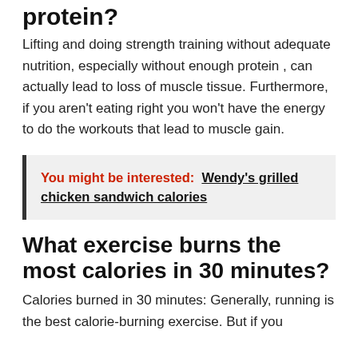protein?
Lifting and doing strength training without adequate nutrition, especially without enough protein , can actually lead to loss of muscle tissue. Furthermore, if you aren't eating right you won't have the energy to do the workouts that lead to muscle gain.
You might be interested:  Wendy's grilled chicken sandwich calories
What exercise burns the most calories in 30 minutes?
Calories burned in 30 minutes: Generally, running is the best calorie-burning exercise. But if you